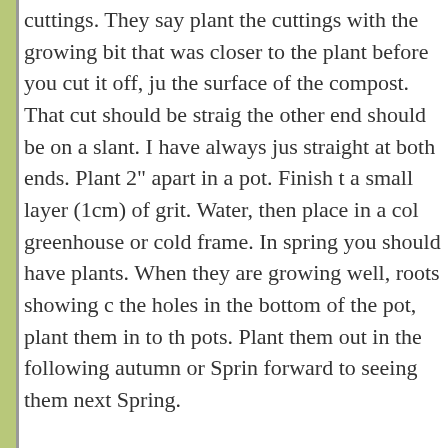They say use 2" - 1" long cuttings. I have always done cuttings. They say plant the cuttings with the growing bit that was closer to the plant before you cut it off, ju the surface of the compost. That cut should be straig the other end should be on a slant. I have always jus straight at both ends. Plant 2" apart in a pot. Finish t a small layer (1cm) of grit. Water, then place in a col greenhouse or cold frame. In spring you should have plants. When they are growing well, roots showing c the holes in the bottom of the pot, plant them in to th pots. Plant them out in the following autumn or Sprin forward to seeing them next Spring.
[Figure (photo): Small square avatar photo showing a pink flower bloom against green foliage background]
Melchisedec
Thank you so much for the info, Scotsg put it into my favourites to consult later o year.